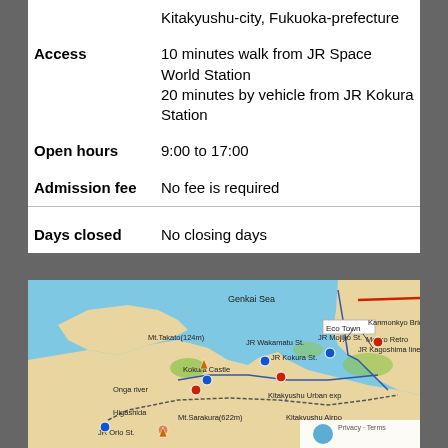|  | Kitakyushu-city, Fukuoka-prefecture |
| Access | 10 minutes walk from JR Space World Station
20 minutes by vehicle from JR Kokura Station |
| Open hours | 9:00 to 17:00 |
| Admission fee | No fee is required |
| Days closed | No closing days |
[Figure (map): Map of Kitakyushu area showing locations including Eco Town, JR Mojiko St, Mojiko Retro, Kanmonkyo Bridge, Mt.Takato(124m), JR Wakamatu St, JR Kokura St, Kokura Castle, Higashida, Mt.Sarakura(622m), JR Orio St, Kitakyushu Urban exp, Kitakyushu Airpo, Genkai Sea, Onga river, JR Kagoshima line, with red and blue dot markers]